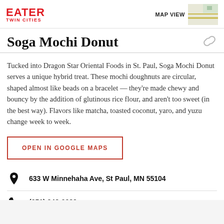EATER TWIN CITIES | MAP VIEW
Soga Mochi Donut
Tucked into Dragon Star Oriental Foods in St. Paul, Soga Mochi Donut serves a unique hybrid treat. These mochi doughnuts are circular, shaped almost like beads on a bracelet — they're made chewy and bouncy by the addition of glutinous rice flour, and aren't too sweet (in the best way). Flavors like matcha, toasted coconut, yaro, and yuzu change week to week.
OPEN IN GOOGLE MAPS
633 W Minnehaha Ave, St Paul, MN 55104
(651) 348-6089
Visit Website